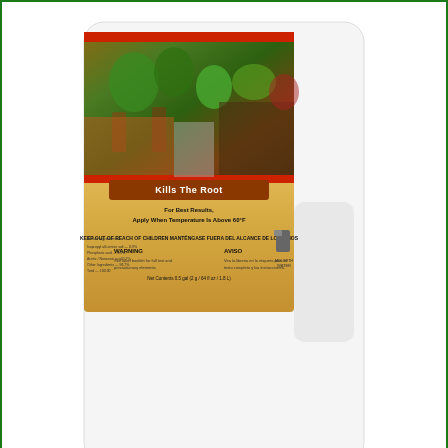[Figure (photo): White plastic bottle of weed killer with colorful label showing plants and garden path. Label includes 'Kills The Root' banner and warning text.]
Check At Amazon
Product #7: Green gobbler 20% Horticultural vinegar weed killer